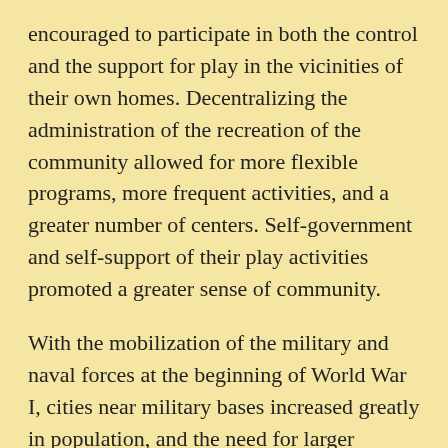encouraged to participate in both the control and the support for play in the vicinities of their own homes. Decentralizing the administration of the recreation of the community allowed for more flexible programs, more frequent activities, and a greater number of centers. Self-government and self-support of their play activities promoted a greater sense of community.
With the mobilization of the military and naval forces at the beginning of World War I, cities near military bases increased greatly in population, and the need for larger facilities for leisure time activities brought the commercial service stage in 1918 and the years that followed. To provide wholesome recreation, the War Camp Community Service was organized with the approval of the Army and Navy departments. The emphasis was on neighborhood participation, and the local camp towns were given